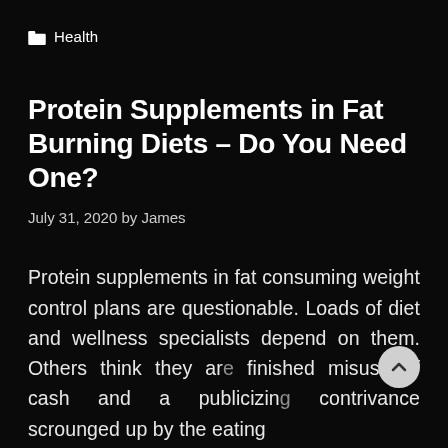Health
Protein Supplements in Fat Burning Diets – Do You Need One?
July 31, 2020 by James
Protein supplements in fat consuming weight control plans are questionable. Loads of diet and wellness specialists depend on them. Others think they are finished misuse of cash and a publicizing contrivance scrounged up by the eating